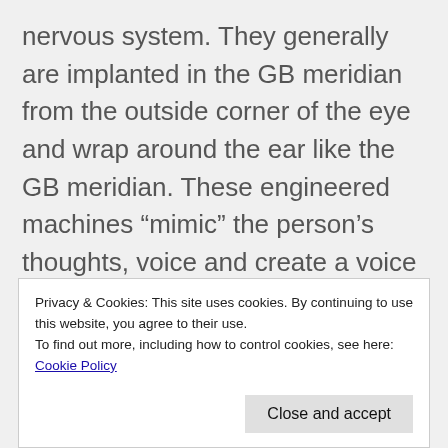nervous system. They generally are implanted in the GB meridian from the outside corner of the eye and wrap around the ear like the GB meridian. These engineered machines “mimic” the person’s thoughts, voice and create a voice recognition pattern with the person/host brain pattern and chemistry. This implant takes time to “train” the body to “listen” to the artificial entity, and as the person is unaware that the Mind Control is being used to influence their thoughts, actions and
Privacy & Cookies: This site uses cookies. By continuing to use this website, you agree to their use.
To find out more, including how to control cookies, see here: Cookie Policy
voice inside the host’s head, pushing thoughts into